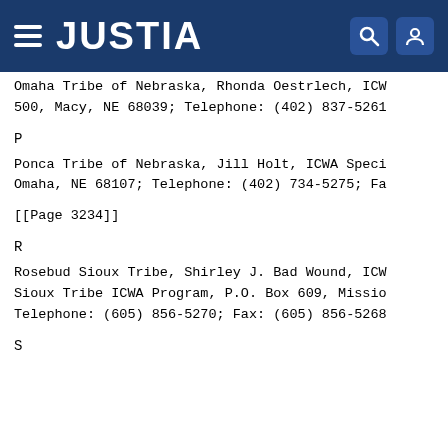JUSTIA
Omaha Tribe of Nebraska, Rhonda Oestrlech, ICW 500, Macy, NE 68039; Telephone: (402) 837-5261
P
Ponca Tribe of Nebraska, Jill Holt, ICWA Speci Omaha, NE 68107; Telephone: (402) 734-5275; Fa
[[Page 3234]]
R
Rosebud Sioux Tribe, Shirley J. Bad Wound, ICW Sioux Tribe ICWA Program, P.O. Box 609, Missio Telephone: (605) 856-5270; Fax: (605) 856-5268
S